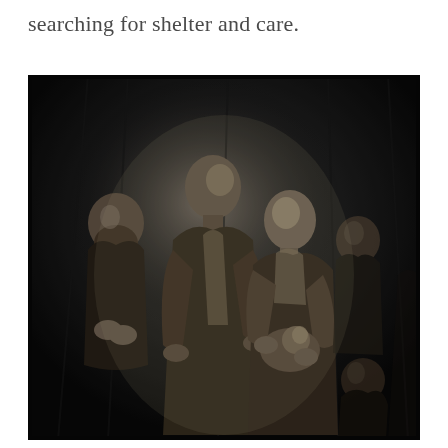searching for shelter and care.
[Figure (illustration): A dark charcoal or etching-style illustration depicting a group of impoverished figures including a central man and woman holding a baby, flanked by other figures including a bearded man on the left and two figures on the right, rendered in dark dramatic tones.]